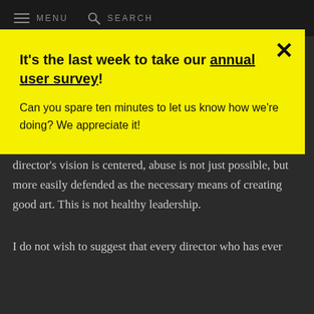MENU   SEARCH
It's the last week to take our annual user survey! Can you spare ten minutes to let us know how we're doing? We appreciate it!
...firmly and respectfully and sometimes abusively, depending on the disposition of the director and the realities of the particular production—or even the realities of a director's personal life or emotional capacity at the time. When a director's vision is centered, abuse is not just possible, but more easily defended as the necessary means of creating good art. This is not healthy leadership.
I do not wish to suggest that every director who has ever